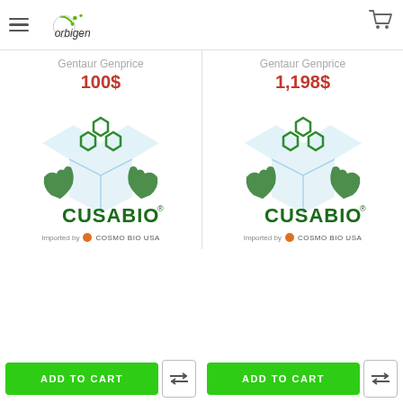orbigen
Gentaur Genprice
100$
[Figure (logo): Cusabio logo with honeycomb hexagons above open box with hands, 'Imported by Cosmo Bio USA']
Imported by COSMO BIO USA
Gentaur Genprice
1,198$
[Figure (logo): Cusabio logo with honeycomb hexagons above open box with hands, 'Imported by Cosmo Bio USA']
Imported by COSMO BIO USA
ADD TO CART
ADD TO CART